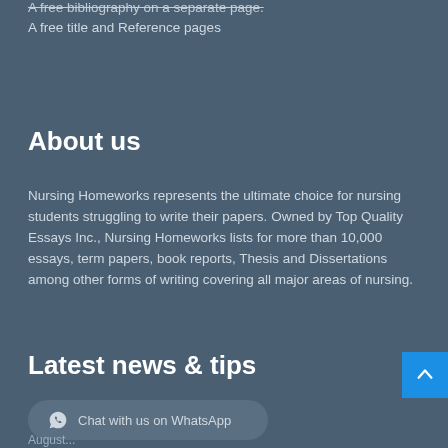A free bibliography on a separate page.
A free title and Reference pages
About us
Nursing Homeworks represents the ultimate choice for nursing students struggling to write their papers. Owned by Top Quality Essays Inc., Nursing Homeworks lists for more than 10,000 essays, term papers, book reports, Thesis and Dissertations among other forms of writing covering all major areas of nursing.
Latest news & tips
Chat with us on WhatsApp
August...